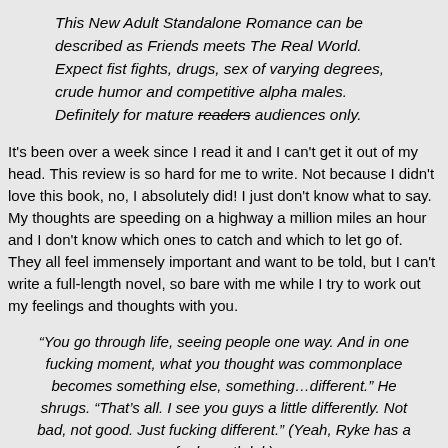This New Adult Standalone Romance can be described as Friends meets The Real World. Expect fist fights, drugs, sex of varying degrees, crude humor and competitive alpha males. Definitely for mature readers-audiences only.
It's been over a week since I read it and I can't get it out of my head. This review is so hard for me to write. Not because I didn't love this book, no, I absolutely did! I just don't know what to say. My thoughts are speeding on a highway a million miles an hour and I don't know which ones to catch and which to let go of. They all feel immensely important and want to be told, but I can't write a full-length novel, so bare with me while I try to work out my feelings and thoughts with you.
“You go through life, seeing people one way. And in one fucking moment, what you thought was commonplace becomes something else, something…different.” He shrugs. “That’s all. I see you guys a little differently. Not bad, not good. Just fucking different.” (Yeah, Ryke has a foul mouth lol.)